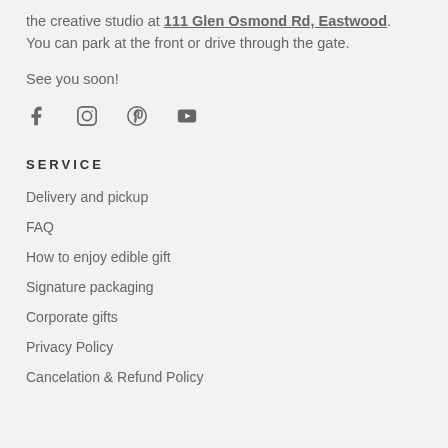the creative studio at 111 Glen Osmond Rd, Eastwood.  You can park at the front or drive through the gate.
See you soon!
[Figure (other): Social media icons: Facebook, Instagram, Pinterest, YouTube]
SERVICE
Delivery and pickup
FAQ
How to enjoy edible gift
Signature packaging
Corporate gifts
Privacy Policy
Cancelation & Refund Policy